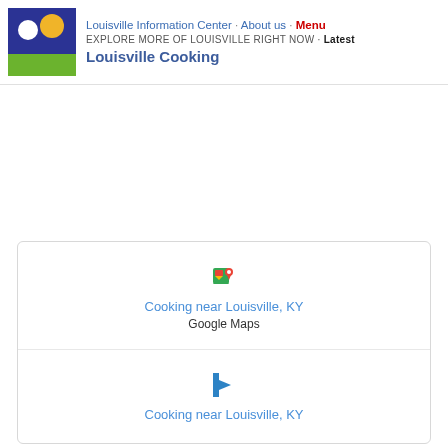Louisville Information Center · About us · Menu
EXPLORE MORE OF LOUISVILLE RIGHT NOW · Latest
Louisville Cooking
[Figure (logo): Louisville Information Center logo with dark blue background, white circle, yellow circle, and green rectangle]
Cooking near Louisville, KY
Google Maps
Cooking near Louisville, KY